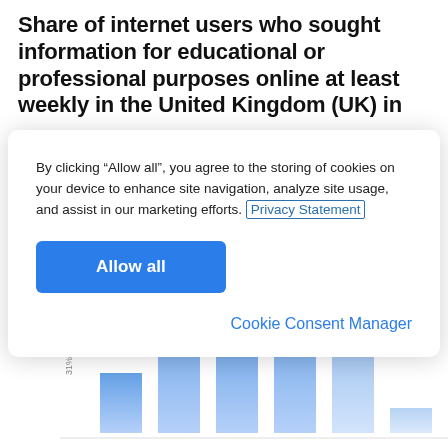Share of internet users who sought information for educational or professional purposes online at least weekly in the United Kingdom (UK) in
By clicking “Allow all”, you agree to the storing of cookies on your device to enhance site navigation, analyze site usage, and assist in our marketing efforts. Privacy Statement
Allow all
Cookie Consent Manager
[Figure (bar-chart): Partial bar chart showing share of internet users, bars visible in lower portion of page, partially obscured by cookie consent modal]